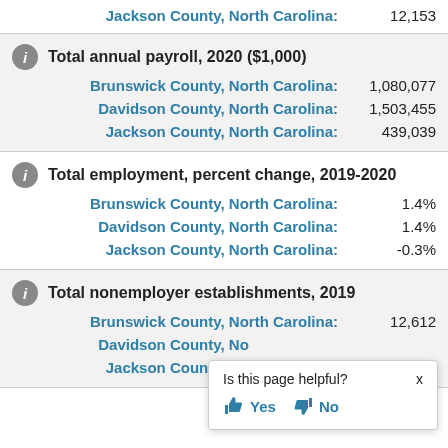Jackson County, North Carolina: 12,153
Total annual payroll, 2020 ($1,000)
Brunswick County, North Carolina: 1,080,077
Davidson County, North Carolina: 1,503,455
Jackson County, North Carolina: 439,039
Total employment, percent change, 2019-2020
Brunswick County, North Carolina: 1.4%
Davidson County, North Carolina: 1.4%
Jackson County, North Carolina: -0.3%
Total nonemployer establishments, 2019
Brunswick County, North Carolina: 12,612
Davidson County, No...
Jackson County, Ne...
Is this page helpful? Yes No